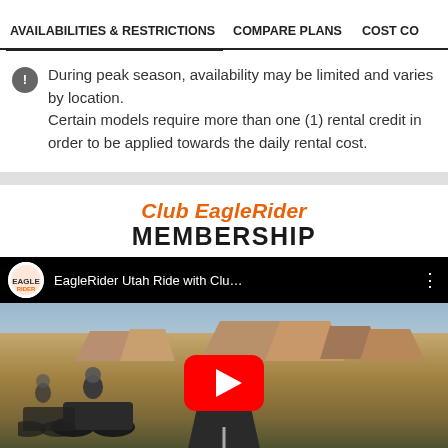AVAILABILITIES & RESTRICTIONS | COMPARE PLANS | COST CO
During peak season, availability may be limited and varies by location.
Certain models require more than one (1) rental credit in order to be applied towards the daily rental cost.
Club EagleRider MEMBERSHIP
[Figure (screenshot): YouTube video thumbnail showing EagleRider Utah Ride with Clu... with a scenic desert highway and motorcyclists, featuring a red YouTube play button. Bottom overlay reads CLUB EAGLERIDER.]